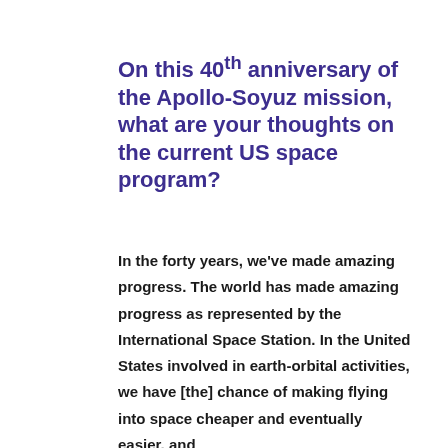On this 40th anniversary of the Apollo-Soyuz mission, what are your thoughts on the current US space program?
In the forty years, we've made amazing progress. The world has made amazing progress as represented by the International Space Station. In the United States involved in earth-orbital activities, we have [the] chance of making flying into space cheaper and eventually easier, and